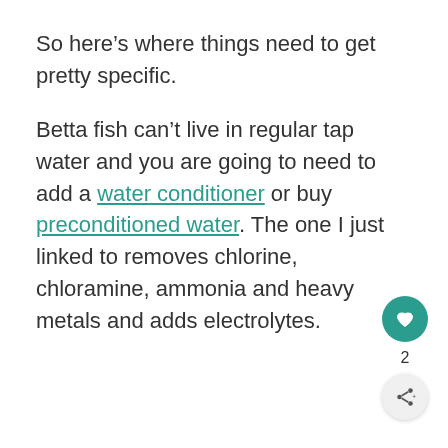So here's where things need to get pretty specific.
Betta fish can't live in regular tap water and you are going to need to add a water conditioner or buy preconditioned water. The one I just linked to removes chlorine, chloramine, ammonia and heavy metals and adds electrolytes.